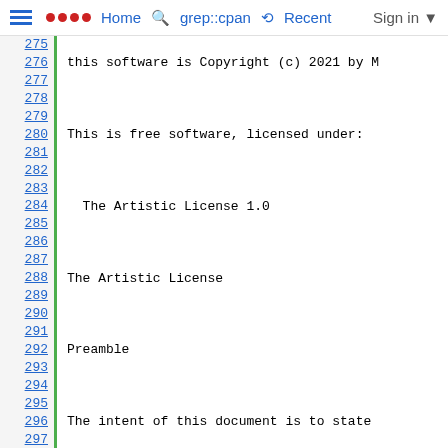Home  grep::cpan  Recent  Sign in
275  this software is Copyright (c) 2021 by M
276
277  This is free software, licensed under:
278
279    The Artistic License 1.0
280
281  The Artistic License
282
283  Preamble
284
285  The intent of this document is to state
286  may be copied, such that the Copyright H
287  artistic control over the development of
288  the package the right to use and distrib
289  customary fashion, plus the right to mak
290
291  Definitions:
292
293    - "Package" refers to the collection o
294       Holder, and derivatives of that coll
295       textual modification.
296    - "Standard Version" refers to such a
297       or has been modified in accordance w
298       Holder.
299    - "Copyright Holder" is whoever is nam
300       the package.
301      "You" is you, if you're thinking abo